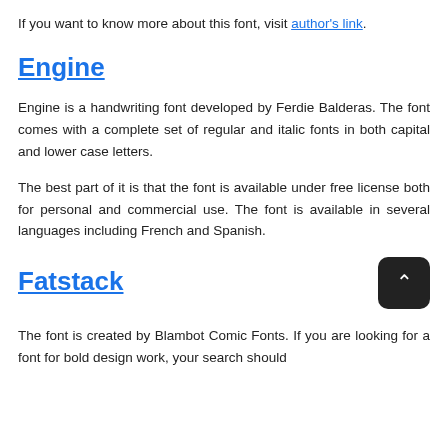If you want to know more about this font, visit author's link.
Engine
Engine is a handwriting font developed by Ferdie Balderas. The font comes with a complete set of regular and italic fonts in both capital and lower case letters.
The best part of it is that the font is available under free license both for personal and commercial use. The font is available in several languages including French and Spanish.
Fatstack
The font is created by Blambot Comic Fonts. If you are looking for a font for bold design work, your search should